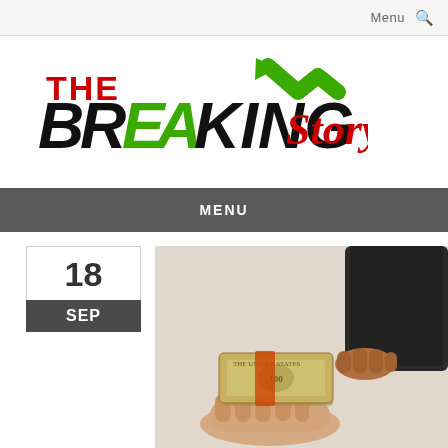Menu  🔍
[Figure (logo): The Breaking Story logo with green arrow, black bold BREAKING text with green A, red cursive Story text]
MENU
18 SEP
[Figure (photo): Two people exchanging a bundle of US dollar bills — one hand holding the cash from above in a dark suit, the other hand open below to receive it]